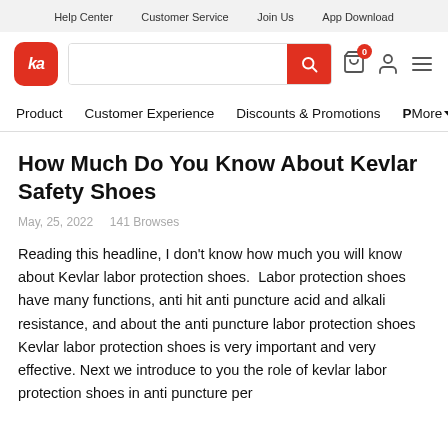Help Center   Customer Service   Join Us   App Download
[Figure (logo): Ka shopping app logo — red rounded square with white italic 'ka' text, followed by a search bar with red search button, cart icon with badge '0', user icon, and hamburger menu icon]
Product   Customer Experience   Discounts & Promotions   PMore
How Much Do You Know About Kevlar Safety Shoes
May, 25, 2022   141 Browses
Reading this headline, I don't know how much you will know about Kevlar labor protection shoes.  Labor protection shoes have many functions, anti hit anti puncture acid and alkali resistance, and about the anti puncture labor protection shoes Kevlar labor protection shoes is very important and very effective. Next we introduce to you the role of kevlar labor protection shoes in anti puncture performance